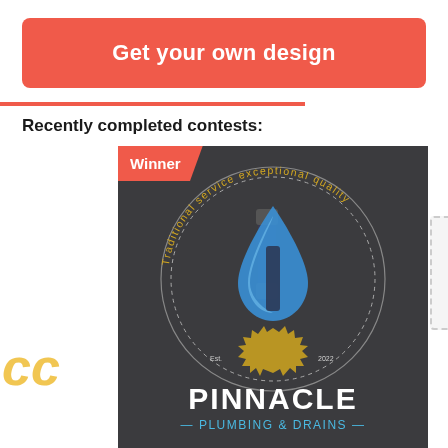[Figure (logo): Red/salmon rounded rectangle button banner with white bold text 'Get your own design']
Recently completed contests:
[Figure (logo): Pinnacle Plumbing & Drains logo on dark grey background. Circular badge with text 'Traditional service exceptional quality' around a plumbing icon (water droplet with wrench and gear). Text below reads 'PINNACLE' in large white letters and 'PLUMBING & DRAINS' in blue below. Red 'Winner' badge in top-left corner.]